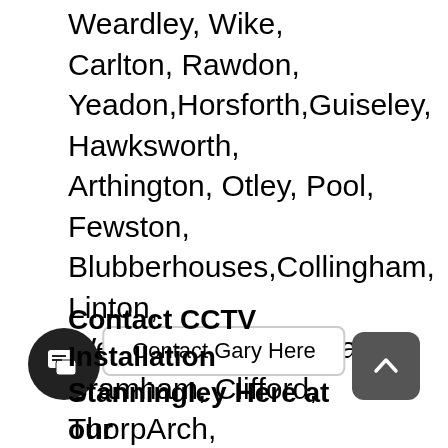Weardley, Wike, Carlton, Rawdon, Yeadon,Horsforth,Guiseley, Hawksworth, Arthington, Otley, Pool, Fewston, Blubberhouses,Collingham, Linton, Wetherby,Boston Spa, Bramham, Clifford, ThorpArch, Walton,Saxton, Stutton, Ulleskelf, Church Fenton, Oxton, Tadcaster, Toulston,Aberford, Ferry Fryston, Garforth, Hillam, Kippax, Ledsham, Micklefield, Monk Fryston, Sherburn-in-Elmet, South Milford,Great Preston, Methley, Mickletown, Oulton, Rothwell, Swillington, Woodlesford, Churwell, Gildersome, Morley,Bagley, Calverley, Farsley, Pudsey, Stanningley,Addingham, Ben Rhydding, Burley in Wharfedale, Ilkley, Menston
Book CCTV Installation Stanningley now as we always try to cover all the areas of Stanningley to help
Contact Gary Here
Contact CCTV Installation Stanningley Here at our